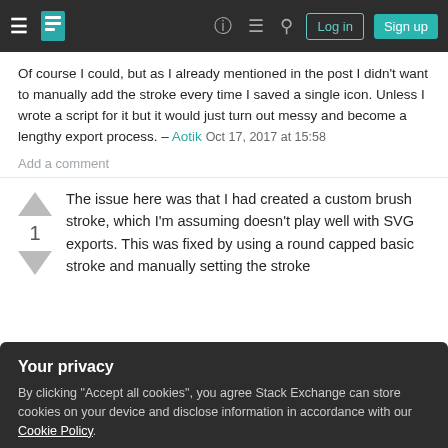Stack Exchange navigation bar with Log in and Sign up buttons
Of course I could, but as I already mentioned in the post I didn't want to manually add the stroke every time I saved a single icon. Unless I wrote a script for it but it would just turn out messy and become a lengthy export process. – Aotik Oct 17, 2017 at 15:58
Add a comment
The issue here was that I had created a custom brush stroke, which I'm assuming doesn't play well with SVG exports. This was fixed by using a round capped basic stroke and manually setting the stroke
Your privacy
By clicking "Accept all cookies", you agree Stack Exchange can store cookies on your device and disclose information in accordance with our Cookie Policy.
Accept all cookies  Customize settings